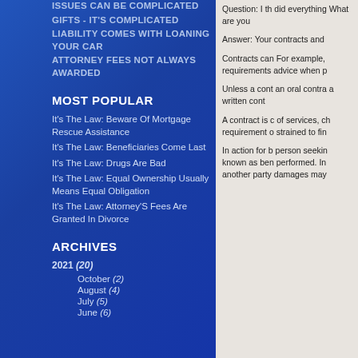ISSUES CAN BE COMPLICATED
GIFTS - IT'S COMPLICATED
LIABILITY COMES WITH LOANING YOUR CAR
ATTORNEY FEES NOT ALWAYS AWARDED
MOST POPULAR
It's The Law: Beware Of Mortgage Rescue Assistance
It's The Law: Beneficiaries Come Last
It's The Law: Drugs Are Bad
It's The Law: Equal Ownership Usually Means Equal Obligation
It's The Law: Attorney'S Fees Are Granted In Divorce
ARCHIVES
2021 (20)
October (2)
August (4)
July (5)
June (6)
Question: I th... did everything... What are you...
Answer: Your contracts and...
Contracts can... For example,... requirements... advice when p...
Unless a cont... an oral contra... a written cont...
A contract is c... of services, ch... requirement o... strained to fin...
In action for b... person seekin... known as ben... performed. In... another party... damages may...